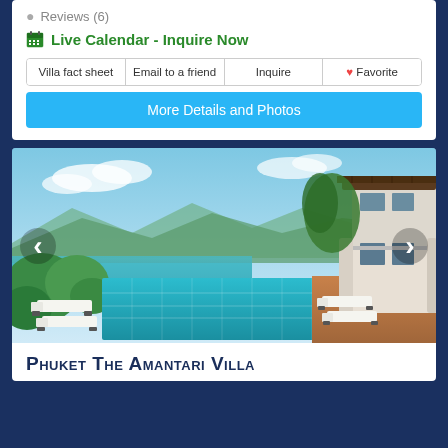Reviews (6)
Live Calendar - Inquire Now
| Villa fact sheet | Email to a friend | Inquire | Favorite |
| --- | --- | --- | --- |
More Details and Photos
[Figure (photo): Luxury villa with infinity pool overlooking the sea in Phuket. White lounge chairs beside the pool, tropical greenery, and a two-story villa structure with columns. Ocean and mountains visible in background.]
Phuket The Amantari Villa